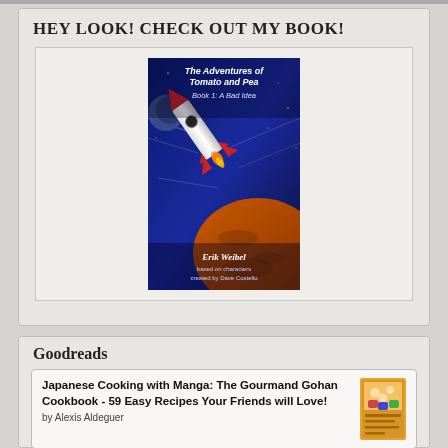HEY LOOK! CHECK OUT MY BOOK!
[Figure (illustration): Book cover: The Adventures of Tomato and Pea, Book 1: A Bad Idea by Erik Weibel, based on characters created by Dave Costello. Shows a rocket ship flying past a planet in space.]
Goodreads
Japanese Cooking with Manga: The Gourmand Gohan Cookbook - 59 Easy Recipes Your Friends will Love! by Alexis Aldeguer